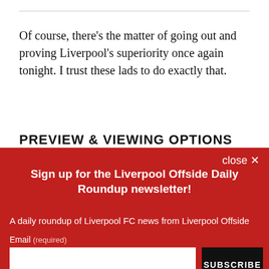Of course, there’s the matter of going out and proving Liverpool’s superiority once again tonight. I trust these lads to do exactly that.
PREVIEW & VIEWING OPTIONS
close ×
Sign up for the Liverpool Offside Daily Roundup newsletter!
A daily roundup of Liverpool FC news from Liverpool Offside
Email (required)
SUBSCRIBE
By submitting your email, you agree to our Terms and Privacy Notice. You can opt out at any time. This site is protected by reCAPTCHA and the Google Privacy Policy and Terms of Service apply.